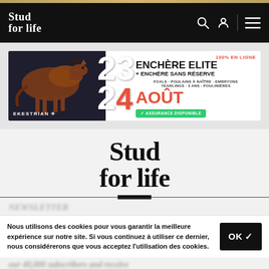[Figure (screenshot): Stud for Life website header with black background, white logo text 'Stud for life', search icon, user icon, and hamburger menu icon]
[Figure (infographic): Ekestrian auction ad banner: '23 24 AOÛT - 100% EN LIGNE - ENCHÈRE ELITE + ENCHÈRE SANS RÉSERVE - FOALS · POULAINS À NAÎTRE · EMBRYONS - YEARLINGS · 3 ANS · POULINIÈRES - ASSURANCE DISPONIBLE']
[Figure (logo): Large 'Stud for life' serif logo centered on light grey background with horizontal divider line and black bar]
Nous utilisons des cookies pour vous garantir la meilleure expérience sur notre site. Si vous continuez à utiliser ce dernier, nous considérerons que vous acceptez l'utilisation des cookies.